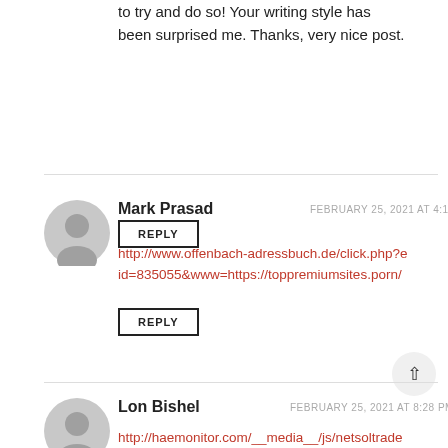to try and do so! Your writing style has been surprised me. Thanks, very nice post.
REPLY
Mark Prasad
FEBRUARY 25, 2021 AT 4:13 PM
http://www.offenbach-adressbuch.de/click.php?eid=835055&www=https://toppremiumsites.porn/
REPLY
Lon Bishel
FEBRUARY 25, 2021 AT 8:28 PM
http://haemonitor.com/__media__/js/netsoltrade